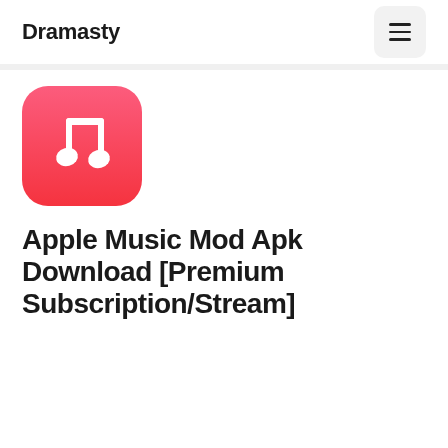Dramasty
[Figure (logo): Apple Music app icon — red gradient square with white music note (two eighth notes) on it]
Apple Music Mod Apk Download [Premium Subscription/Stream]